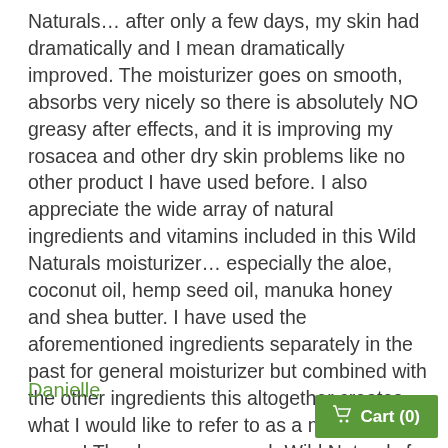Naturals… after only a few days, my skin had dramatically and I mean dramatically improved. The moisturizer goes on smooth, absorbs very nicely so there is absolutely NO greasy after effects, and it is improving my rosacea and other dry skin problems like no other product I have used before. I also appreciate the wide array of natural ingredients and vitamins included in this Wild Naturals moisturizer… especially the aloe, coconut oil, hemp seed oil, manuka honey and shea butter. I have used the aforementioned ingredients separately in the past for general moisturizer but combined with the other ingredients this altogether creates what I would like to refer to as a miracle cream! Thank you very much Wild Naturals for creating such a wonderful product!"
Danielle
Cart (0)